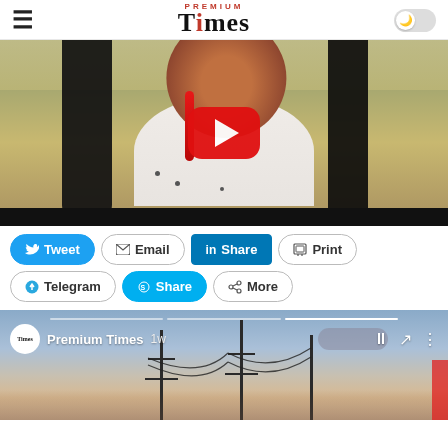Premium Times
[Figure (screenshot): YouTube-style video thumbnail showing a smiling young woman with braided hair and red beaded necklace, wearing white top, with a red YouTube play button overlay in the center]
[Figure (screenshot): Social share buttons row: Tweet (blue), Email, Share (LinkedIn, blue filled), Print, Telegram, and Share/More buttons]
[Figure (screenshot): Second video embed from Premium Times Facebook/social feed, showing power transmission towers against a sky background, with Premium Times logo, name, timestamp '1w', and pause/share/more controls]